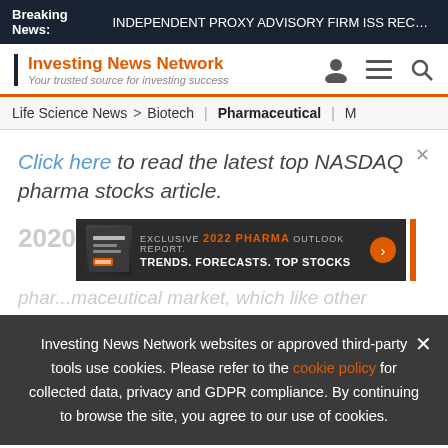Breaking News: INDEPENDENT PROXY ADVISORY FIRM ISS RECOM...
[Figure (logo): Investing News Network logo with tagline 'Your trusted source for investing success']
Life Science News > Biotech | Pharmaceutical | M
Click here to read the latest top NASDAQ pharma stocks article.
[Figure (infographic): EXCLUSIVE 2022 PHARMA OUTLOOK REPORT. TRENDS. FORECASTS. TOP STOCKS advertisement banner]
2020 phar... pharmaceutical market, which like other
Investing News Network websites or approved third-party tools use cookies. Please refer to the cookie policy for collected data, privacy and GDPR compliance. By continuing to browse the site, you agree to our use of cookies.